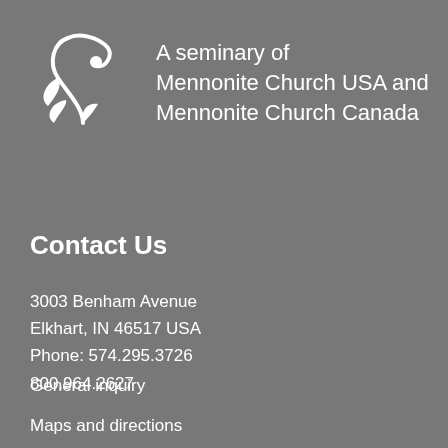[Figure (logo): Seminary logo: white stylized plant/branch figure on grey background, alongside text 'A seminary of Mennonite Church USA and Mennonite Church Canada']
Contact Us
3003 Benham Avenue
Elkhart, IN 46517 USA
Phone: 574.295.3726
800.964.2627
General inquiry
Maps and directions